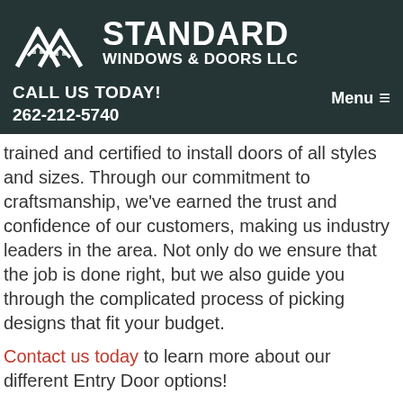[Figure (logo): Standard Windows & Doors LLC logo with mountain/house roof SVG icon in white on dark teal background, with company name in large bold white text]
CALL US TODAY!
262-212-5740
Menu ≡
trained and certified to install doors of all styles and sizes. Through our commitment to craftsmanship, we've earned the trust and confidence of our customers, making us industry leaders in the area. Not only do we ensure that the job is done right, but we also guide you through the complicated process of picking designs that fit your budget.
Contact us today to learn more about our different Entry Door options!